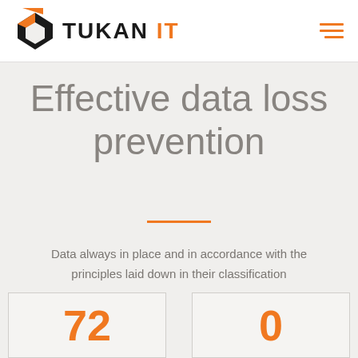TUKAN IT
Effective data loss prevention
Data always in place and in accordance with the principles laid down in their classification
72
0